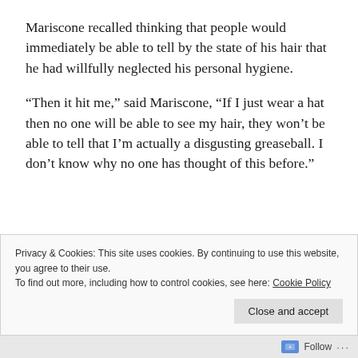Mariscone recalled thinking that people would immediately be able to tell by the state of his hair that he had willfully neglected his personal hygiene.
“Then it hit me,” said Mariscone, “If I just wear a hat then no one will be able to see my hair, they won’t be able to tell that I’m actually a disgusting greaseball. I don’t know why no one has thought of this before.”
Privacy & Cookies: This site uses cookies. By continuing to use this website, you agree to their use.
To find out more, including how to control cookies, see here: Cookie Policy
Follow